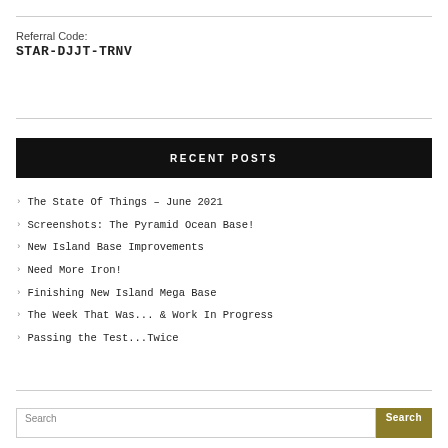Referral Code:
STAR-DJJT-TRNV
RECENT POSTS
The State Of Things – June 2021
Screenshots: The Pyramid Ocean Base!
New Island Base Improvements
Need More Iron!
Finishing New Island Mega Base
The Week That Was... & Work In Progress
Passing the Test...Twice
Search